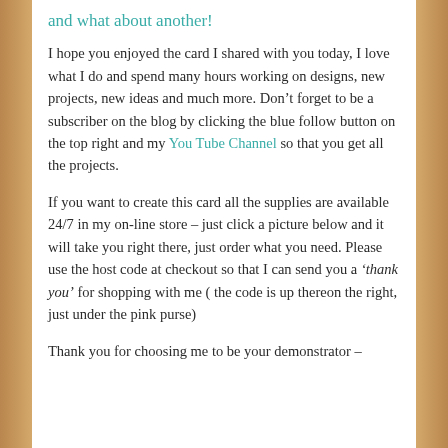and what about another!
I hope you enjoyed the card I shared with you today, I love what I do and spend many hours working on designs, new projects, new ideas and much more. Don’t forget to be a subscriber on the blog by clicking the blue follow button on the top right and my You Tube Channel so that you get all the projects.
If you want to create this card all the supplies are available 24/7 in my on-line store – just click a picture below and it will take you right there, just order what you need. Please use the host code at checkout so that I can send you a ‘thank you’ for shopping with me ( the code is up thereon the right, just under the pink purse)
Thank you for choosing me to be your demonstrator –